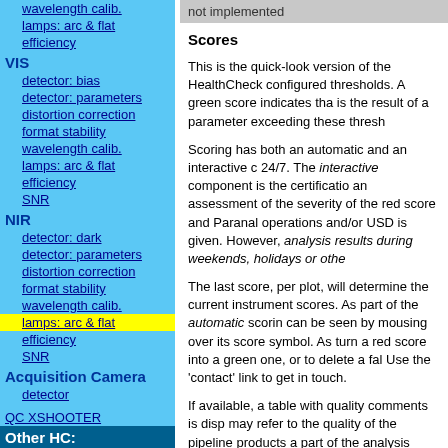wavelength calib.
lamps: arc & flat
efficiency
VIS
detector: bias
detector: parameters
distortion correction
format stability
wavelength calib.
lamps: arc & flat
efficiency
SNR
NIR
detector: dark
detector: parameters
distortion correction
format stability
wavelength calib.
lamps: arc & flat
efficiency
SNR
Acquisition Camera
detector
QC XSHOOTER
Other HC:
UT1
FORS2
KMOS
UT2
FLAMES/GIRAFFE
UVES&FLAMES/UVES
not implemented
Scores
This is the quick-look version of the HealthCheck configured thresholds. A green score indicates that is the result of a parameter exceeding these thresh
Scoring has both an automatic and an interactive c 24/7. The interactive component is the certificatio an assessment of the severity of the red score and Paranal operations and/or USD is given. However, analysis results during weekends, holidays or othe
The last score, per plot, will determine the current instrument scores. As part of the automatic scorin can be seen by mousing over its score symbol. As turn a red score into a green one, or to delete a fal Use the 'contact' link to get in touch.
If available, a table with quality comments is disp may refer to the quality of the pipeline products a part of the analysis workflow.
Scores are based on the QC data for the last 7 day
The 'Quality comments' are collected from the QC